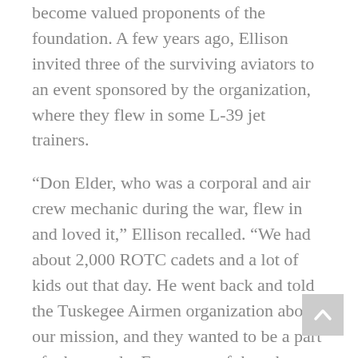become valued proponents of the foundation. A few years ago, Ellison invited three of the surviving aviators to an event sponsored by the organization, where they flew in some L-39 jet trainers.
“Don Elder, who was a corporal and air crew mechanic during the war, flew in and loved it,” Ellison recalled. “We had about 2,000 ROTC cadets and a lot of kids out that day. He went back and told the Tuskegee Airmen organization about our mission, and they wanted to be a part of what we do. Every one of them has loved attending, because they’re able to connect to young people, which is what they want to do these days. When they come to see us, they meet a lot of inner-city